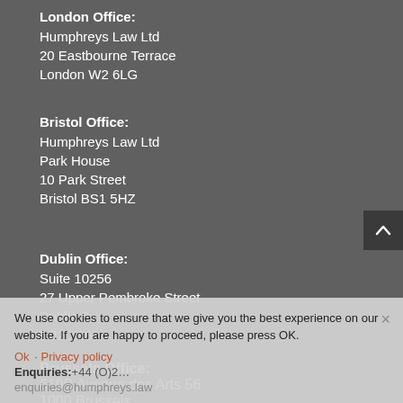London Office:
Humphreys Law Ltd
20 Eastbourne Terrace
London W2 6LG
Bristol Office:
Humphreys Law Ltd
Park House
10 Park Street
Bristol BS1 5HZ
Dublin Office:
Suite 10256
27 Upper Pembroke Street
Dublin 2
D02 X361
Brussels Office:
619B Avenue des Arts 56
1000 Brussels
Belgium
Enquiries: +44 (O)2... enquiries@humphreys.law
We use cookies to ensure that we give you the best experience on our website. If you are happy to proceed, please press OK.